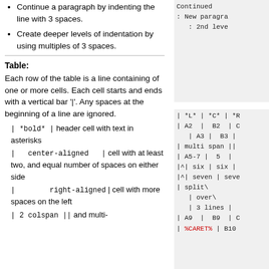Continue a paragraph by indenting the line with 3 spaces.
Create deeper levels of indentation by using multiples of 3 spaces.
Table:
Each row of the table is a line containing of one or more cells. Each cell starts and ends with a vertical bar '|'. Any spaces at the beginning of a line are ignored.
| *bold* | header cell with text in asterisks
| center-aligned | cell with at least two, and equal number of spaces on either side
| right-aligned | cell with more spaces on the left
| 2 colspan || and multi-
Continued
: New paragra
: 2nd leve
| *L* | *C* | *R
| A2 | B2 | C
| A3 | B3 |
| multi span ||
| A5-7 | 5 |
|^| six | six |
|^| seven | seve
| split\
   | over\
   | 3 lines |
| A9 | B9 | C
| %CARET% | B10